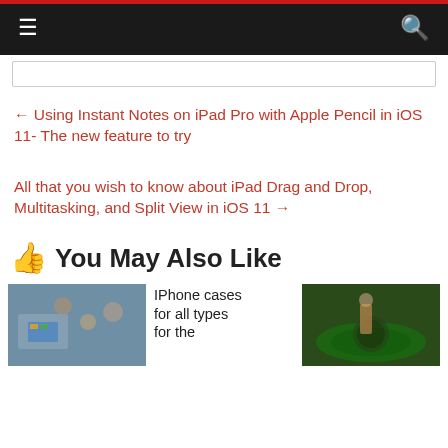Navigation bar with menu and search icons
← Using Instant Notes on iPad Pro with Apple Pencil in iOS 11- The new feature to try
All that you wish to know about iPad Drag and Drop, Multitasking, and Split View in iOS 11 →
👍 You May Also Like
[Figure (photo): Photo of classroom with students using tablets]
IPhone cases for all types for the
[Figure (photo): Photo of roulette table in casino]